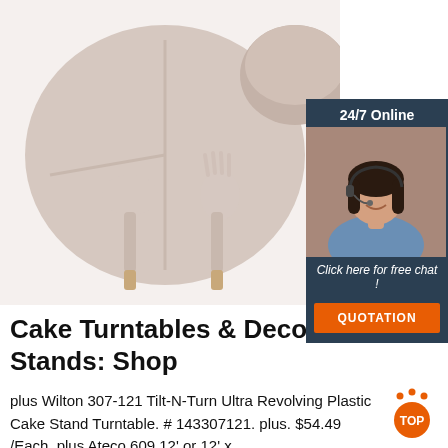[Figure (photo): Photo of a silicone baby/toddler divided plate dish set in light mauve/blush color with spoon and fork utensils with wooden handles, on white background.]
[Figure (infographic): 24/7 Online chat widget overlay with dark navy background, photo of a smiling woman with headset, text 'Click here for free chat!' and orange QUOTATION button.]
Cake Turntables & Decorating Stands: Shop
plus Wilton 307-121 Tilt-N-Turn Ultra Revolving Plastic Cake Stand Turntable. # 143307121. plus. $54.49 /Each. plus Ateco 609 12' or 12' x
[Figure (other): Back to TOP button with orange dots arc and orange circle with 'TOP' text in white.]